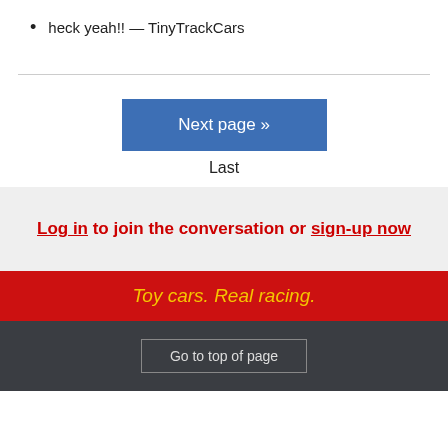heck yeah!! — TinyTrackCars
Next page »
Last
Log in to join the conversation or sign-up now
Toy cars. Real racing.
Go to top of page